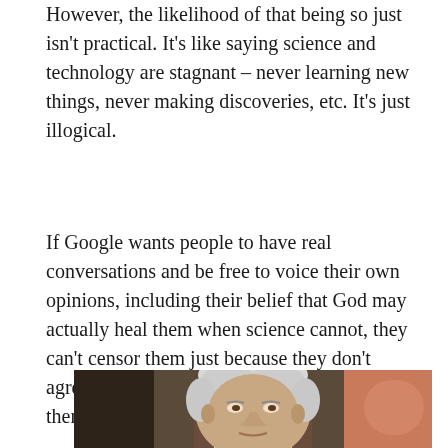However, the likelihood of that being so just isn't practical. It's like saying science and technology are stagnant – never learning new things, never making discoveries, etc. It's just illogical.
If Google wants people to have real conversations and be free to voice their own opinions, including their belief that God may actually heal them when science cannot, they can't censor them just because they don't agree. After all, they are not God and, therefore, can't know what absolute truth is.
[Figure (photo): Photo of an older man with grey/white hair, appearing to be a politician or public figure, photographed indoors with a blurred background.]